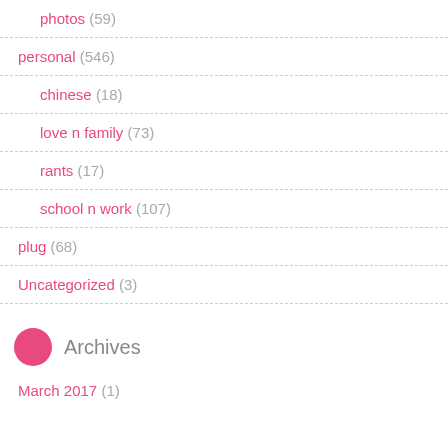photos (59)
personal (546)
chinese (18)
love n family (73)
rants (17)
school n work (107)
plug (68)
Uncategorized (3)
Archives
March 2017 (1)